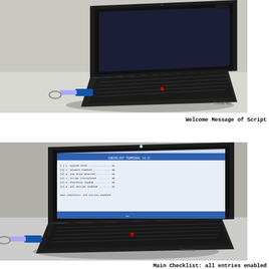[Figure (photo): Photograph of a black Lenovo ThinkPad laptop on a white table with a USB drive inserted on the left side. The laptop screen shows a dark/off state with a faint blue screen. A USB dongle with a keyring is visible on the left.]
Welcome Message of Script
[Figure (photo): Photograph of a black Lenovo ThinkPad laptop on a white table with a USB drive inserted on the left side. The laptop screen displays a light blue terminal/script interface with text checklist items. A USB dongle with a keyring is visible on the left.]
Main Checklist: all entries enabled